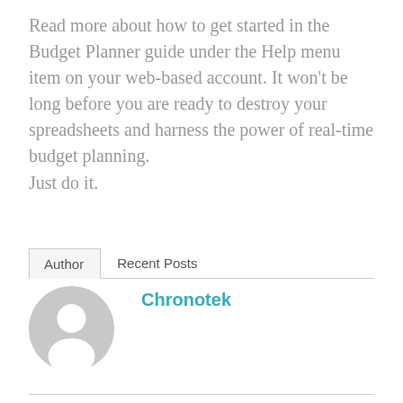Read more about how to get started in the Budget Planner guide under the Help menu item on your web-based account. It won't be long before you are ready to destroy your spreadsheets and harness the power of real-time budget planning.
Just do it.
Author   Recent Posts
[Figure (illustration): Generic user avatar: grey circle with a white silhouette of a person (head and shoulders)]
Chronotek